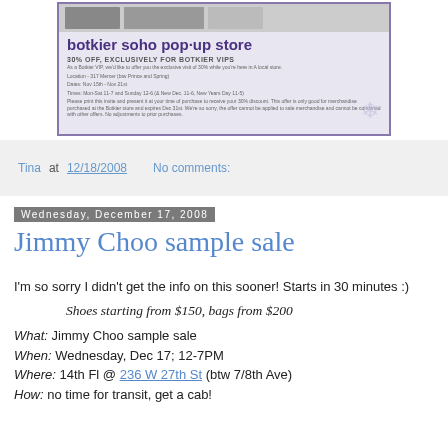[Figure (other): Advertisement image for 'botkier soho pop-up store' showing 30% off exclusively for Botkier VIPs, with small product images at top and a snowflake graphic]
Tina at 12/18/2008   No comments:
Wednesday, December 17, 2008
Jimmy Choo sample sale
I'm so sorry I didn't get the info on this sooner! Starts in 30 minutes :)
Shoes starting from $150, bags from $200
What: Jimmy Choo sample sale
When: Wednesday, Dec 17; 12-7PM
Where: 14th Fl @ 236 W 27th St (btw 7/8th Ave)
How: no time for transit, get a cab!